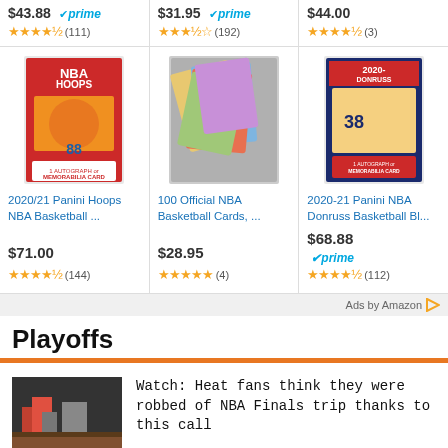[Figure (screenshot): Amazon product listing strip showing three NBA basketball card products with prices, prime badges, and star ratings. Top row partial: $43.88 prime (111 reviews), $31.95 prime (192 reviews), $44.00 (3 reviews). Second row: 2020/21 Panini Hoops NBA Basketball $71.00 4-star (144), 100 Official NBA Basketball Cards $28.95 5-star (4), 2020-21 Panini NBA Donruss Basketball Bl... $68.88 prime 4-star (112). Followed by Ads by Amazon footer, then Playoffs section header with orange bar, and news article about Heat fans.]